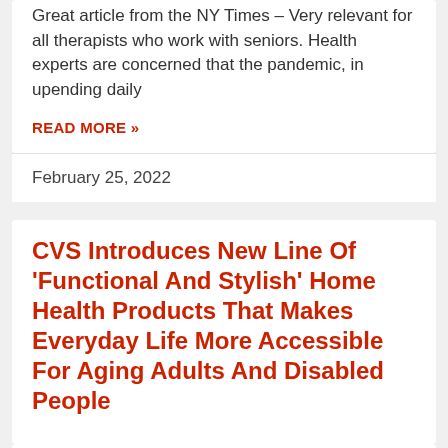Great article from the NY Times – Very relevant for all therapists who work with seniors. Health experts are concerned that the pandemic, in upending daily
READ MORE »
February 25, 2022
CVS Introduces New Line Of 'Functional And Stylish' Home Health Products That Makes Everyday Life More Accessible For Aging Adults And Disabled People
I love this announcement for so many reasons. Being a therapist, we know for some patients